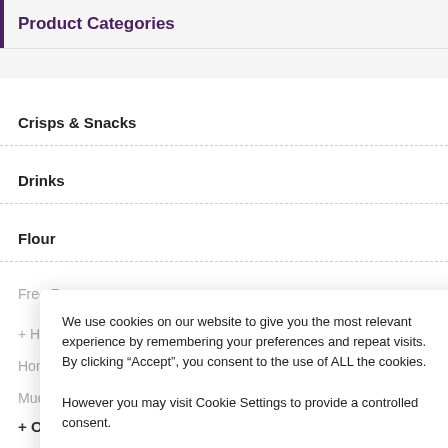Product Categories
Crisps & Snacks
Drinks
Flour
Free From
+ Homemade Jams & Chutneys
Homemade Ready Meals
Muesli & Oatmeal
We use cookies on our website to give you the most relevant experience by remembering your preferences and repeat visits. By clicking “Accept”, you consent to the use of ALL the cookies. However you may visit Cookie Settings to provide a controlled consent.
+ Oils & Dressings